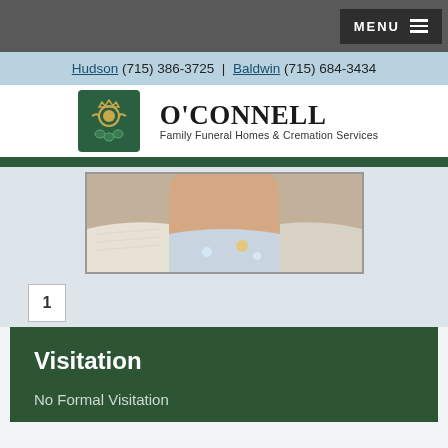MENU
Hudson (715) 386-3725 | Baldwin (715) 684-3434
[Figure (logo): O'Connell Family Funeral Homes & Cremation Services logo with Claddagh symbol]
[Figure (photo): Partial photo of a person wearing a white knit cardigan and floral top, cropped at neck/shoulders]
1
Visitation
No Formal Visitation